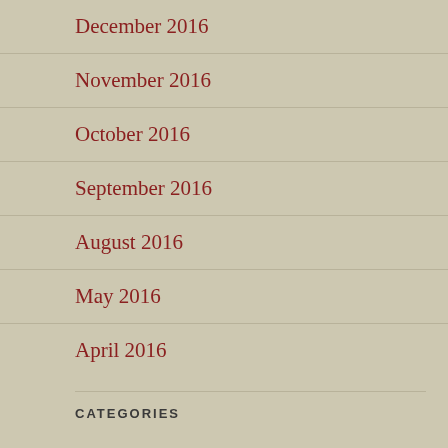December 2016
November 2016
October 2016
September 2016
August 2016
May 2016
April 2016
CATEGORIES